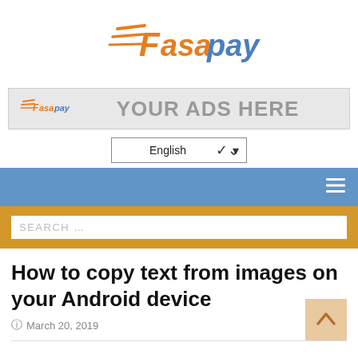[Figure (logo): FasaPay logo with orange lightning bolt lines and blue/orange text]
[Figure (infographic): Ad banner with small FasaPay logo and text YOUR ADS HERE on grey background]
[Figure (screenshot): English language dropdown selector]
[Figure (screenshot): Blue navigation bar with hamburger menu icon on right]
[Figure (screenshot): Gold/orange search bar with white search input reading SEARCH ...]
How to copy text from images on your Android device
March 20, 2019